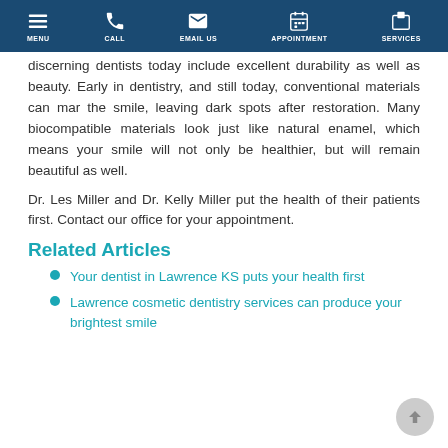MENU | CALL | EMAIL US | APPOINTMENT | SERVICES
discerning dentists today include excellent durability as well as beauty. Early in dentistry, and still today, conventional materials can mar the smile, leaving dark spots after restoration. Many biocompatible materials look just like natural enamel, which means your smile will not only be healthier, but will remain beautiful as well.
Dr. Les Miller and Dr. Kelly Miller put the health of their patients first. Contact our office for your appointment.
Related Articles
Your dentist in Lawrence KS puts your health first
Lawrence cosmetic dentistry services can produce your brightest smile